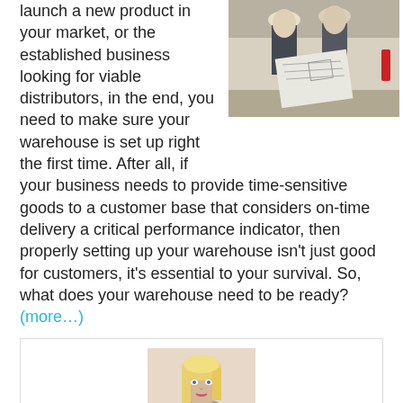launch a new product in your market, or the established business looking for viable distributors, in the end, you need to make sure your warehouse is set up right the first time. After all, if your business needs to provide time-sensitive goods to a customer base that considers on-time delivery a critical performance indicator, then properly setting up your warehouse isn't just good for customers, it's essential to your survival. So, what does your warehouse need to be ready? (more…)
[Figure (photo): Two people wearing hard hats looking at blueprints in a warehouse]
[Figure (photo): Blonde woman in black jacket with patterned scarf]